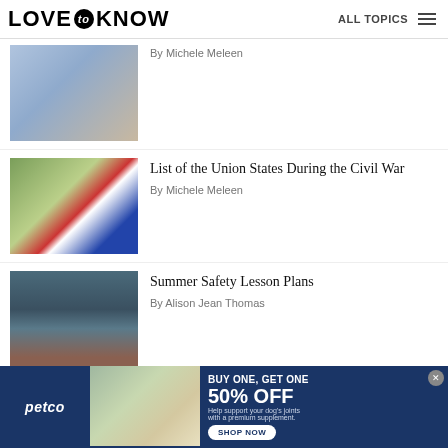LOVE to KNOW | ALL TOPICS
By Michele Meleen
[Figure (photo): Children gathered together, viewed from behind]
List of the Union States During the Civil War
By Michele Meleen
[Figure (photo): American flag at a Civil War reenactment camp]
Summer Safety Lesson Plans
By Alison Jean Thomas
[Figure (photo): Child in orange life jacket near water]
[Figure (advertisement): Petco advertisement: BUY ONE, GET ONE 50% OFF. Help support your dog's joints with a premium supplement. SHOP NOW button.]